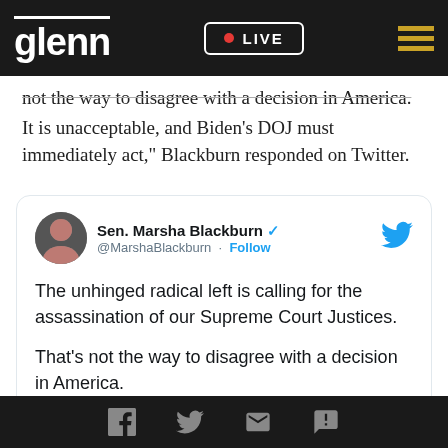glenn | LIVE
not the way to disagree with a decision in America. It is unacceptable, and Biden's DOJ must immediately act," Blackburn responded on Twitter.
[Figure (screenshot): Embedded tweet from Sen. Marsha Blackburn (@MarshaBlackburn) with verified checkmark and Follow button. Tweet text: 'The unhinged radical left is calling for the assassination of our Supreme Court Justices. That's not the way to disagree with a decision in America. It is unacceptable, and Biden's DOJ must']
Social share icons: Facebook, Twitter, Email, SMS